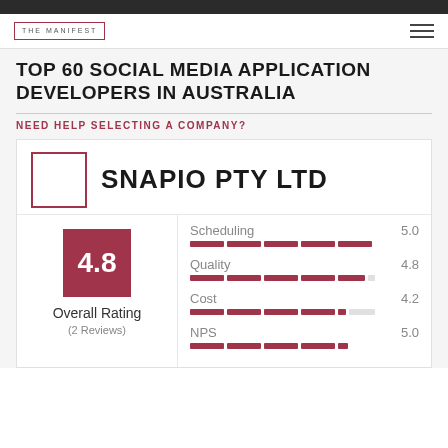THE MANIFEST
TOP 60 SOCIAL MEDIA APPLICATION DEVELOPERS IN AUSTRALIA
NEED HELP SELECTING A COMPANY?
SNAPIO PTY LTD
[Figure (infographic): Company rating card for Snapio Pty Ltd showing overall rating of 4.8 from 2 reviews, with sub-ratings: Scheduling 5.0, Quality 4.8, Cost 4.2, NPS 5.0 displayed as bar charts]
4.8
Overall Rating
(2 Reviews)
| Category | Score |
| --- | --- |
| Scheduling | 5.0 |
| Quality | 4.8 |
| Cost | 4.2 |
| NPS | 5.0 |